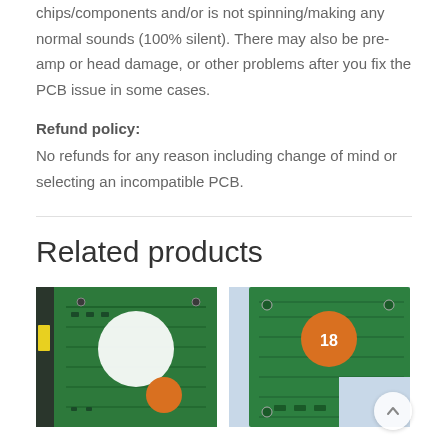chips/components and/or is not spinning/making any normal sounds (100% silent). There may also be pre-amp or head damage, or other problems after you fix the PCB issue in some cases.
Refund policy:
No refunds for any reason including change of mind or selecting an incompatible PCB.
Related products
[Figure (photo): Green PCB circuit board (hard drive controller board) with a large white circular magnet area and orange circular component, viewed from above.]
[Figure (photo): Green PCB circuit board with orange circular sticker labeled '18', showing hard drive controller board components on light blue background.]